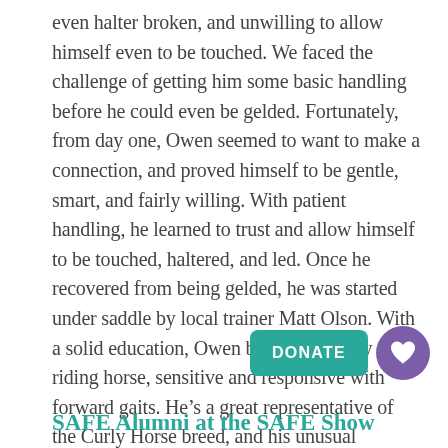even halter broken, and unwilling to allow himself even to be touched. We faced the challenge of getting him some basic handling before he could even be gelded. Fortunately, from day one, Owen seemed to want to make a connection, and proved himself to be gentle, smart, and fairly willing. With patient handling, he learned to trust and allow himself to be touched, haltered, and led. Once he recovered from being gelded, he was started under saddle by local trainer Matt Olson. With a solid education, Owen became a lovely riding horse, sensitive and responsive with forward gaits. He's a great representative of the Curly Horse breed, and his unusual appearance attracts the interest and attention of people everywhere. Owen was adopted by SAFE's Executive Director, Bonnie Hammond.
SAFE Alumni at the SAFE Show